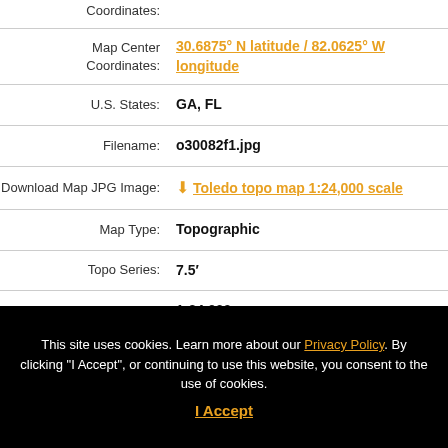Coordinates:
Map Center Coordinates: 30.6875° N latitude / 82.0625° W longitude
U.S. States: GA, FL
Filename: o30082f1.jpg
Download Map JPG Image: Toledo topo map 1:24,000 scale
Map Type: Topographic
Topo Series: 7.5′
Map Scale: 1:24,000
This site uses cookies. Learn more about our Privacy Policy. By clicking "I Accept", or continuing to use this website, you consent to the use of cookies. I Accept